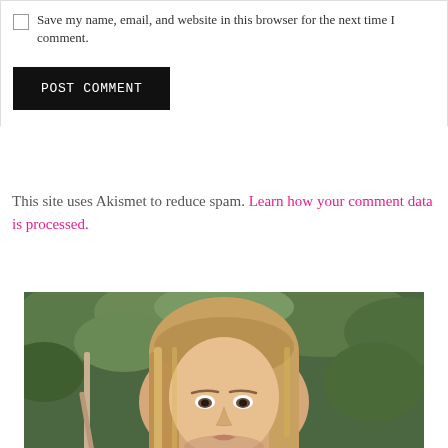Save my name, email, and website in this browser for the next time I comment.
POST COMMENT
This site uses Akismet to reduce spam. Learn how your comment data is processed.
[Figure (photo): Headshot of a woman with long blonde hair outdoors with green foliage in background]